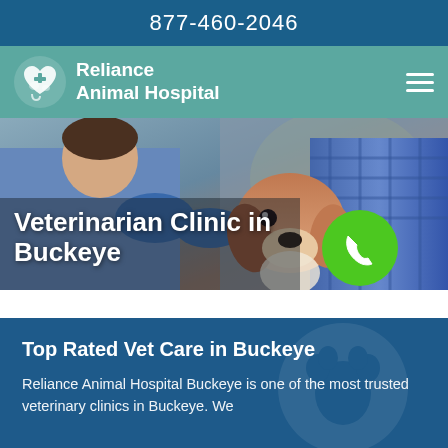877-460-2046
[Figure (logo): Reliance Animal Hospital logo with heart and animal silhouette icon, white text on teal background, with hamburger menu icon]
[Figure (photo): Veterinarian in blue gloves examining a brown and white dog held by a person in a plaid shirt]
Veterinarian Clinic in Buckeye
Top Rated Vet Care in Buckeye
Reliance Animal Hospital Buckeye is one of the most trusted veterinary clinics in Buckeye. We